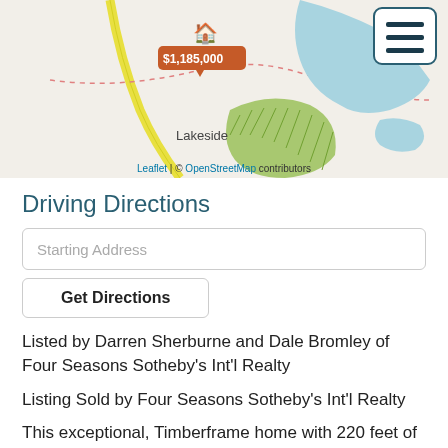[Figure (map): Map showing Lakeside area with a property marker priced at $1,185,000 and a hamburger menu button in top right corner. The map shows roads, water bodies, and a 'Lakeside' label.]
Driving Directions
Starting Address
Get Directions
Listed by Darren Sherburne and Dale Bromley of Four Seasons Sotheby's Int'l Realty
Listing Sold by Four Seasons Sotheby's Int'l Realty
This exceptional, Timberframe home with 220 feet of shoreline on Groton Lake was designed by an